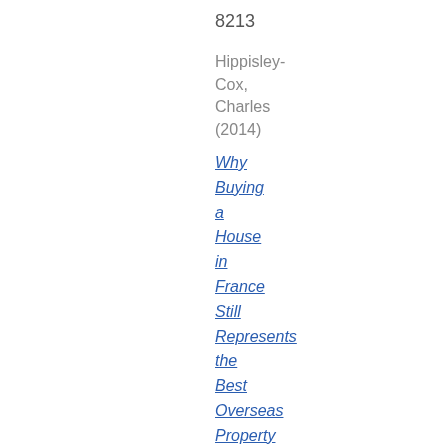8213
Hippisley-Cox, Charles (2014)
Why Buying a House in France Still Represents the Best Overseas Property Option.
Building Engineer,